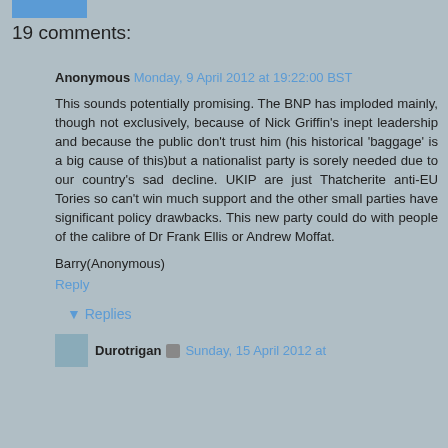19 comments:
Anonymous Monday, 9 April 2012 at 19:22:00 BST
This sounds potentially promising. The BNP has imploded mainly, though not exclusively, because of Nick Griffin's inept leadership and because the public don't trust him (his historical 'baggage' is a big cause of this)but a nationalist party is sorely needed due to our country's sad decline. UKIP are just Thatcherite anti-EU Tories so can't win much support and the other small parties have significant policy drawbacks. This new party could do with people of the calibre of Dr Frank Ellis or Andrew Moffat.
Barry(Anonymous)
Reply
Replies
Durotrigan Sunday, 15 April 2012 at